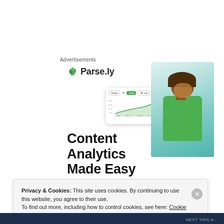Advertisements
[Figure (screenshot): Parse.ly advertisement showing logo, analytics dashboard screenshot, and smiling woman in green sweater with headline 'Content Analytics Made Easy']
Privacy & Cookies: This site uses cookies. By continuing to use this website, you agree to their use.
To find out more, including how to control cookies, see here: Cookie Policy
Close and accept